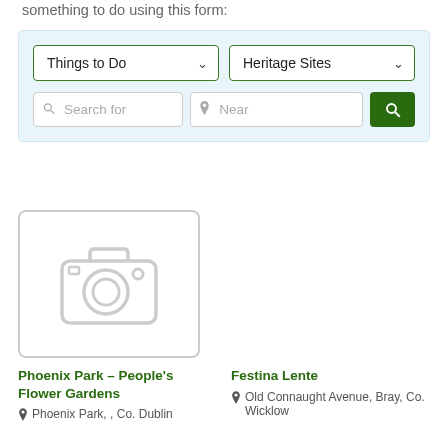something to do using this form:
[Figure (screenshot): Search form with two dropdowns (Things to Do, Heritage Sites), a text search input, a near location input, and a search button]
[Figure (photo): Camera placeholder icon with grey outline, no photo loaded]
Phoenix Park – People's Flower Gardens
Phoenix Park, , Co. Dublin
Festina Lente
Old Connaught Avenue, Bray, Co. Wicklow